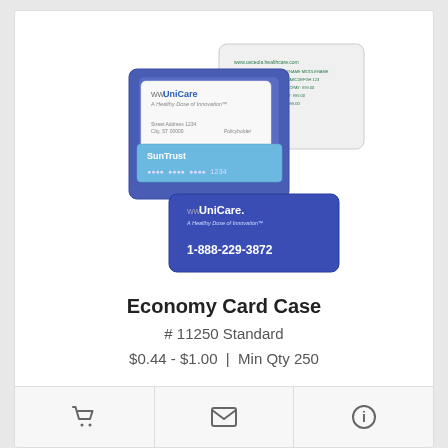[Figure (photo): Economy Card Case product photo showing a blue card holder with UniCare insurance cards and SunTrust bank card displayed, along with a white card from Osceola Medical Center]
Economy Card Case
# 11250 Standard
$0.44 - $1.00  |  Min Qty 250
[Figure (photo): Round button/pin products showing: Montucky Cold Snacks 2022 blue pin, Sevier County C.A.R.E.S black/green/blue pin, and a partially visible third pin at the bottom]